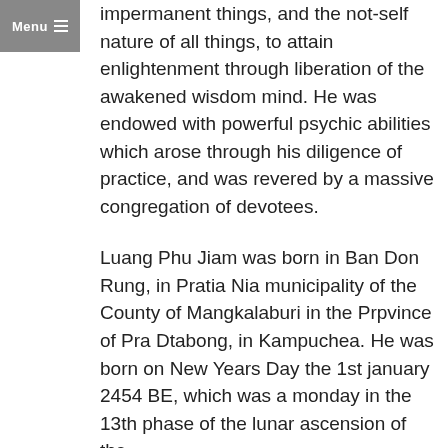impermanent things, and the not-self nature of all things, to attain enlightenment through liberation of the awakened wisdom mind. He was endowed with powerful psychic abilities which arose through his diligence of practice, and was revered by a massive congregation of devotees.
Luang Phu Jiam was born in Ban Don Rung, in Pratia Nia municipality of the County of Mangkalaburi in the Prpvince of Pra Dtabong, in Kampuchea. He was born on New Years Day the 1st january 2454 BE, which was a monday in the 13th phase of the lunar ascension of the